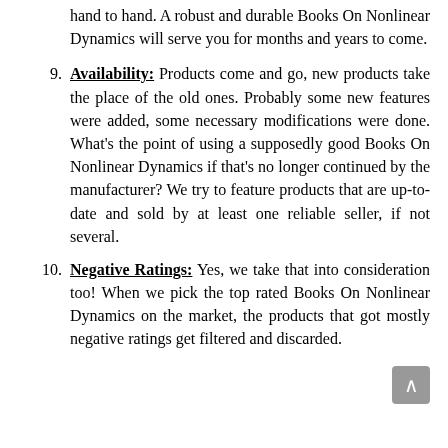hand to hand. A robust and durable Books On Nonlinear Dynamics will serve you for months and years to come.
9. Availability: Products come and go, new products take the place of the old ones. Probably some new features were added, some necessary modifications were done. What's the point of using a supposedly good Books On Nonlinear Dynamics if that's no longer continued by the manufacturer? We try to feature products that are up-to-date and sold by at least one reliable seller, if not several.
10. Negative Ratings: Yes, we take that into consideration too! When we pick the top rated Books On Nonlinear Dynamics on the market, the products that got mostly negative ratings get filtered and discarded.